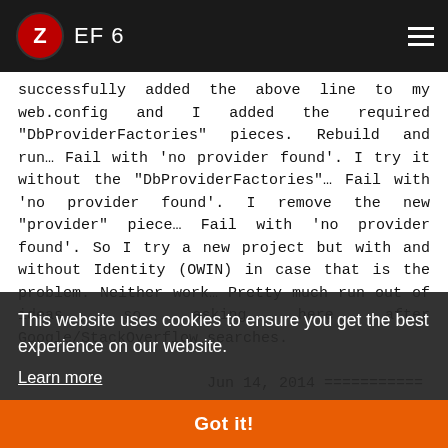EF 6
successfully added the above line to my web.config and I added the required "DbProviderFactories" pieces. Rebuild and run... Fail with 'no provider found'. I try it without the "DbProviderFactories"... Fail with 'no provider found'. I remove the new "provider" piece... Fail with 'no provider found'. So I try a new project but with and without Identity (OWIN) in case that is the problem. Neither work... Pretty much run out of ideas, so asking here after Google/StackOverflow searches.

Jun 14, 2014 ===========

Unfortunately the changed entries and numerous variations did not work on my PC.. I am using VS 2013 System.Data.SQLite. At least I am getting a new error
This website uses cookies to ensure you get the best experience on our website.
Learn more
Got it!